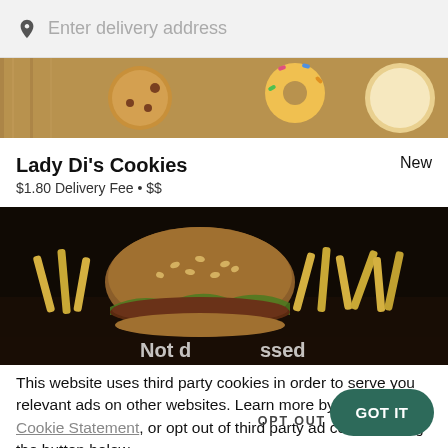[Figure (screenshot): Address search bar with location pin icon and placeholder text 'Enter delivery address' on a light grey background]
[Figure (photo): Top portion of a food delivery app showing cookies and baked goods on a wooden surface]
Lady Di's Cookies
New
$1.80 Delivery Fee • $$
[Figure (photo): Dark photograph of a burger with sesame seed bun and french fries on a dark background, with partially visible white text overlay at the bottom]
This website uses third party cookies in order to serve you relevant ads on other websites. Learn more by visiting our Cookie Statement, or opt out of third party ad cookies using the button below.
OPT OUT
GOT IT